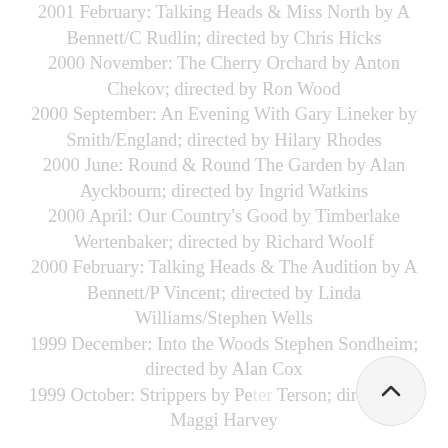2001 February: Talking Heads & Miss North by A Bennett/C Rudlin; directed by Chris Hicks
2000 November: The Cherry Orchard by Anton Chekov; directed by Ron Wood
2000 September: An Evening With Gary Lineker by Smith/England; directed by Hilary Rhodes
2000 June: Round & Round The Garden by Alan Ayckbourn; directed by Ingrid Watkins
2000 April: Our Country's Good by Timberlake Wertenbaker; directed by Richard Woolf
2000 February: Talking Heads & The Audition by A Bennett/P Vincent; directed by Linda Williams/Stephen Wells
1999 December: Into the Woods Stephen Sondheim; directed by Alan Cox
1999 October: Strippers by Peter Terson; directed by Maggi Harvey